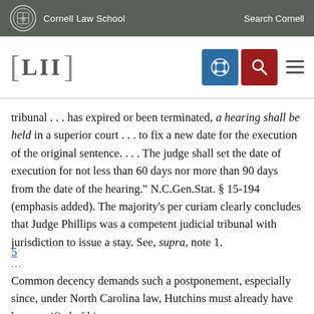Cornell Law School | Search Cornell
[Figure (logo): LII Legal Information Institute logo with Cornell Law School branding and navigation icons]
tribunal . . . has expired or been terminated, a hearing shall be held in a superior court . . . to fix a new date for the execution of the original sentence. . . . The judge shall set the date of execution for not less than 60 days nor more than 90 days from the date of the hearing." N.C.Gen.Stat. § 15-194 (emphasis added). The majority's per curiam clearly concludes that Judge Phillips was a competent judicial tribunal with jurisdiction to issue a stay. See, supra, note 1.
5
Common decency demands such a postponement, especially since, under North Carolina law, Hutchins must already have been notified of his